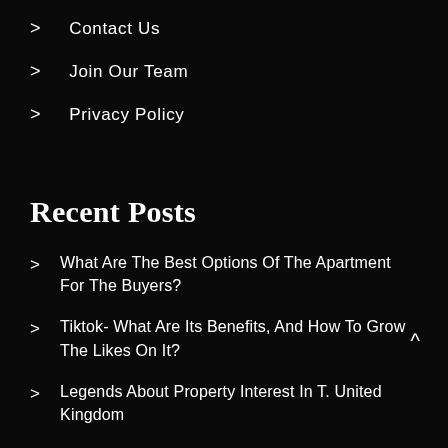> Contact Us
> Join Our Team
> Privacy Policy
Recent Posts
> What Are The Best Options Of The Apartment For The Buyers?
> Tiktok- What Are Its Benefits, And How To Grow The Likes On It?
> Legends About Property Interest In The United Kingdom